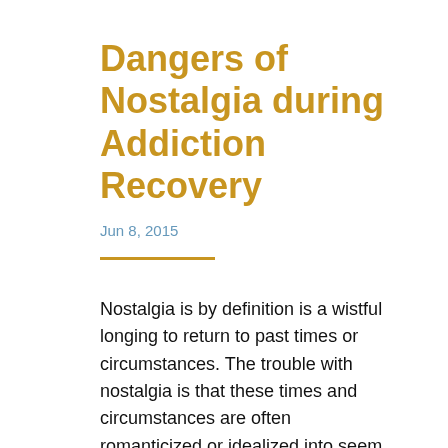Dangers of Nostalgia during Addiction Recovery
Jun 8, 2015
Nostalgia is by definition is a wistful longing to return to past times or circumstances. The trouble with nostalgia is that these times and circumstances are often romanticized or idealized into seem better than they really were. This causes people to remember only the good things about a particular time while